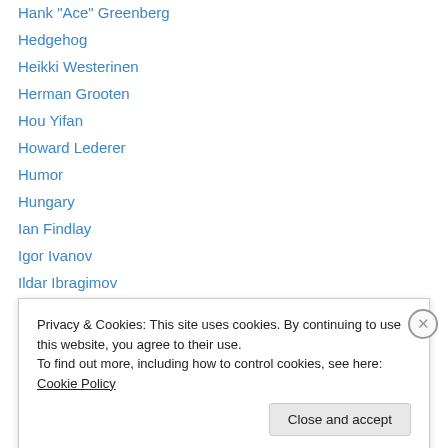Hank "Ace" Greenberg
Hedgehog
Heikki Westerinen
Herman Grooten
Hou Yifan
Howard Lederer
Humor
Hungary
Ian Findlay
Igor Ivanov
Ildar Ibragimov
Ilya Gurevich
IM Danny Kopec
Privacy & Cookies: This site uses cookies. By continuing to use this website, you agree to their use.
To find out more, including how to control cookies, see here: Cookie Policy
Close and accept